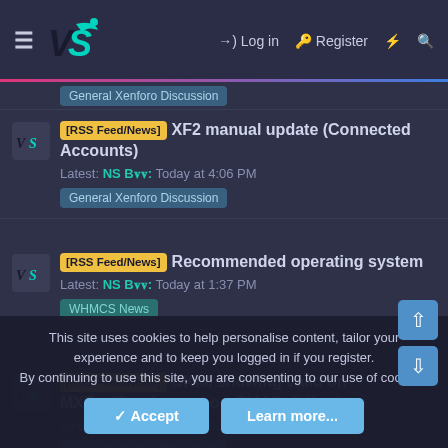VS [RSS Feed/News] Log in Register
General Xenforo Discussion (partial tag visible at top)
[RSS Feed/News] XF2 manual update (Connected Accounts)
Latest: NS Bot: Today at 4:06 PM
General Xenforo Discussion
[RSS Feed/News] Recommended operating system
Latest: NS Bot: Today at 1:37 PM
WHMCS News
[RSS Feed/News] DKIM showing valid on MXToolBox but not on GMAIL & Xenforo
Latest: NS Bot: Today at 9:52 AM
General Xenforo Discussion
This site uses cookies to help personalise content, tailor your experience and to keep you logged in if you register.
By continuing to use this site, you are consenting to our use of cookies.
Accept  Learn more...